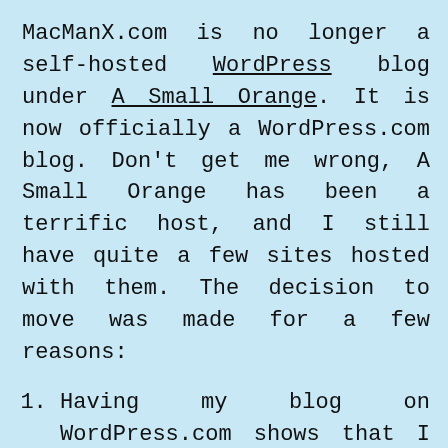MacManX.com is no longer a self-hosted WordPress blog under A Small Orange. It is now officially a WordPress.com blog. Don't get me wrong, A Small Orange has been a terrific host, and I still have quite a few sites hosted with them. The decision to move was made for a few reasons:
Having my blog on WordPress.com shows that I have entrusted my own blog to the very system that I support.
Blogging on WordPress.com allows…